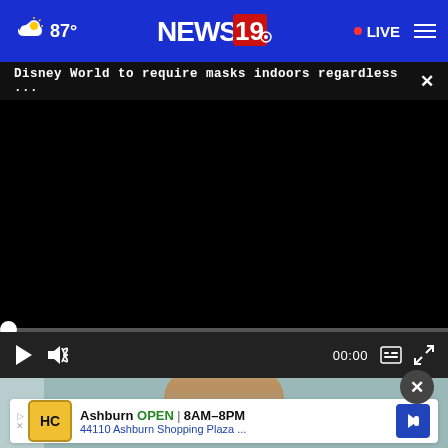87° NEWS 19 • LIVE
Disney World to require masks indoors regardless ... ×
[Figure (screenshot): Black video player area with progress bar and playback controls showing 00:00 timestamp, play button, mute button, captions button, and fullscreen button]
[Figure (photo): Partial view of a woman with brown hair against a teal/mint background, visible from forehead to chin]
Ashburn OPEN | 8AM–8PM
44110 Ashburn Shopping Plaza ...